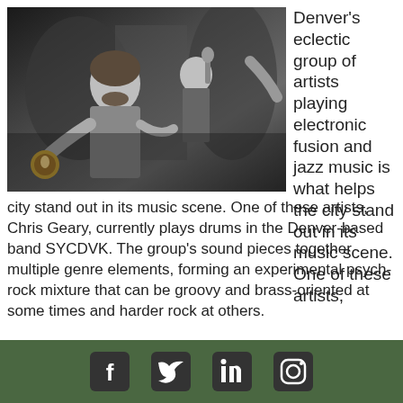[Figure (photo): Black and white photo of musicians performing, one playing drums in the foreground, another singing into a microphone in the background]
Denver’s eclectic group of artists playing electronic fusion and jazz music is what helps the city stand out in its music scene. One of these artists, Chris Geary, currently plays drums in the Denver-based band SYCDVK. The group’s sound pieces together multiple genre elements, forming an experimental psych-rock mixture that can be groovy and brass-oriented at some times and harder rock at others.
SYCDVK just finished up a tour through the Midwest, but
Social media icons: Facebook, Twitter, LinkedIn, Instagram